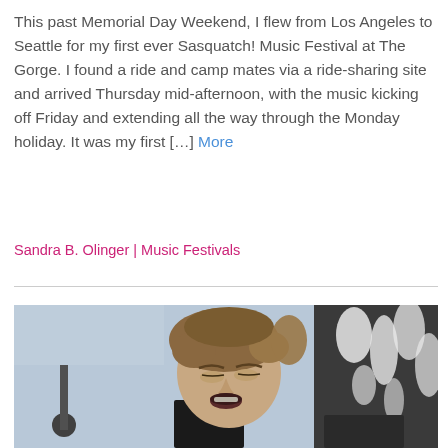This past Memorial Day Weekend, I flew from Los Angeles to Seattle for my first ever Sasquatch! Music Festival at The Gorge. I found a ride and camp mates via a ride-sharing site and arrived Thursday mid-afternoon, with the music kicking off Friday and extending all the way through the Monday holiday. It was my first […] More
Sandra B. Olinger | Music Festivals
[Figure (photo): Close-up photo of a young male performer singing or performing on stage, with brown hair and mouth open, wearing a dark tank top. Dark abstract background.]